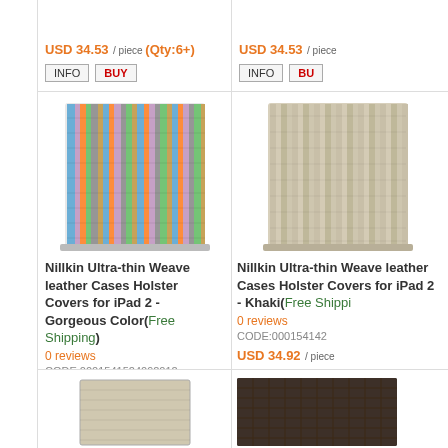USD 34.53 / piece (Qty:6+)
INFO  BUY
[Figure (photo): Nillkin Ultra-thin Weave leather case for iPad 2 in Gorgeous Color (multicolored stripes)]
Nillkin Ultra-thin Weave leather Cases Holster Covers for iPad 2 - Gorgeous Color(Free Shipping)
0 reviews
CODE:0001541524092012
USD 34.92 / piece (Retail)
USD 32.53 / piece (Qty:6+)
INFO  BUY
USD 34.53 / piece
[Figure (photo): Nillkin Ultra-thin Weave leather case for iPad 2 in Khaki color]
Nillkin Ultra-thin Weave leather Cases Holster Covers for iPad 2 - Khaki(Free Shipping)
0 reviews
CODE:0001541424...
USD 34.92 / piece
USD 32.53 / piece
INFO  BUY
[Figure (photo): Product thumbnail bottom left]
[Figure (photo): Product thumbnail bottom right - dark woven texture]